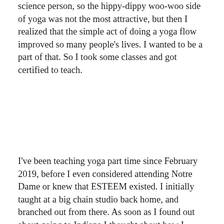science person, so the hippy-dippy woo-woo side of yoga was not the most attractive, but then I realized that the simple act of doing a yoga flow improved so many people’s lives. I wanted to be a part of that. So I took some classes and got certified to teach.
I’ve been teaching yoga part time since February 2019, before I even considered attending Notre Dame or knew that ESTEEM existed. I initially taught at a big chain studio back home, and branched out from there. As soon as I found out about going to Indiana I thought about how I might continue teaching, as it’s a fun, enriching activity for me.
My chain studio didn’t have locations in Indiana, so I couldn’t transfer. I didn’t know anyone yet, so I couldn’t work
[Figure (photo): Two people doing an acro-yoga pose in a studio. One person lies on their back with legs raised, balancing the other person horizontally in the air with arms outstretched.]